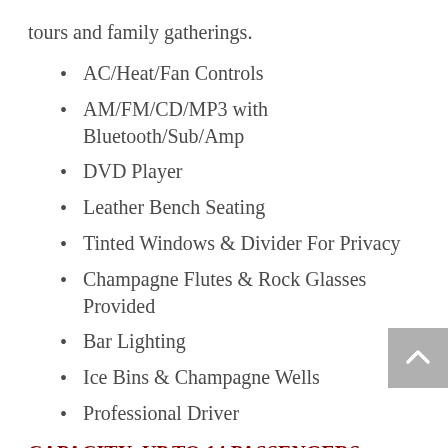tours and family gatherings.
AC/Heat/Fan Controls
AM/FM/CD/MP3 with Bluetooth/Sub/Amp
DVD Player
Leather Bench Seating
Tinted Windows & Divider For Privacy
Champagne Flutes & Rock Glasses Provided
Bar Lighting
Ice Bins & Champagne Wells
Professional Driver
CAPACITY: UP TO 14 PASSENGERS